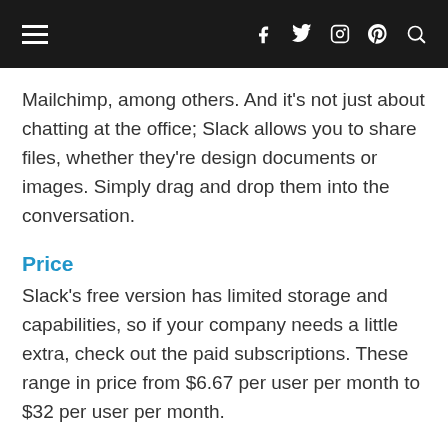≡  f  🐦  📷  p  🔍
Mailchimp, among others. And it's not just about chatting at the office; Slack allows you to share files, whether they're design documents or images. Simply drag and drop them into the conversation.
Price
Slack's free version has limited storage and capabilities, so if your company needs a little extra, check out the paid subscriptions. These range in price from $6.67 per user per month to $32 per user per month.